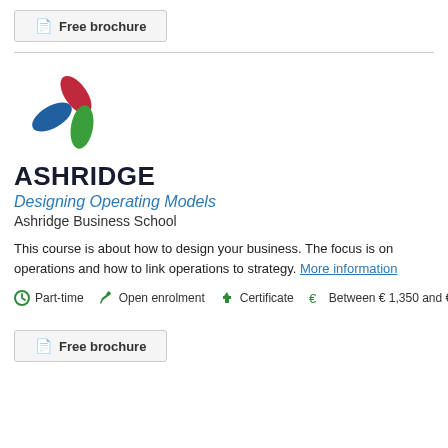Free brochure
[Figure (logo): Ashridge three-petal logo in blue, red, and green, with ASHRIDGE text below]
Designing Operating Models
Ashridge Business School
This course is about how to design your business. The focus is on operations and how to link operations to strategy. More information
Part-time   Open enrolment   Certificate   Between € 1,350 and € 2,700
Free brochure